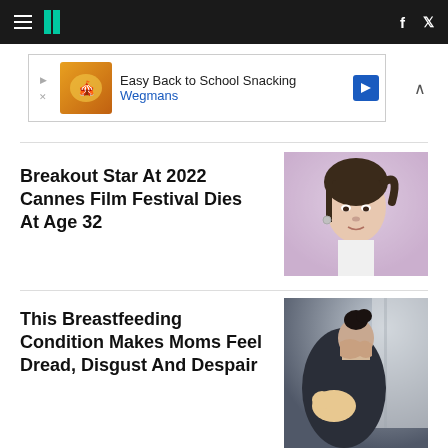HuffPost navigation bar with hamburger menu, logo, Facebook and Twitter icons
[Figure (screenshot): Advertisement banner: Easy Back to School Snacking - Wegmans]
Breakout Star At 2022 Cannes Film Festival Dies At Age 32
[Figure (photo): Young woman with brunette hair in a ponytail at the Cannes Film Festival]
This Breastfeeding Condition Makes Moms Feel Dread, Disgust And Despair
[Figure (photo): Woman breastfeeding a baby while sitting near a window, looking distressed]